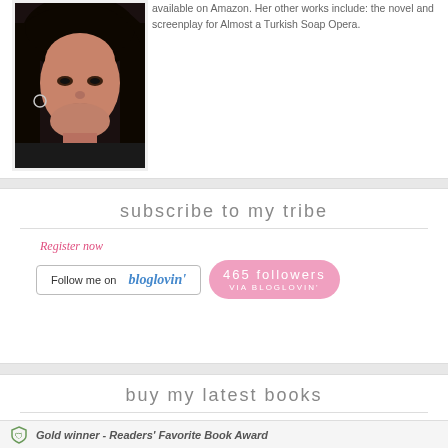[Figure (photo): Portrait photo of an Asian woman with dark hair, wearing earrings and a dark jacket, against a dark background]
available on Amazon. Her other works include: the novel and screenplay for Almost a Turkish Soap Opera.
subscribe to my tribe
Register now
Follow me on bloglovin'
465 followers VIA BLOGLOVIN'
buy my latest books
Gold winner - Readers' Favorite Book Award